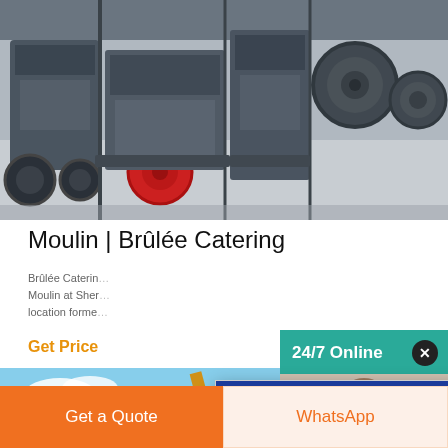[Figure (photo): Industrial machinery/equipment in a factory setting — large crushers and motors on a production floor]
Moulin | Brûlée Catering
Brûlée Catering ... Moulin at Sher... location forme...
Get Price
[Figure (photo): Construction/mining equipment — yellow crane/excavator against blue sky]
[Figure (screenshot): Free chat popup overlay with customer service agent photo and CHAT NOW button]
[Figure (infographic): 24/7 Online right sidebar panel with agent photo, Have any requests click here, Quotation button]
Get a Quote
WhatsApp